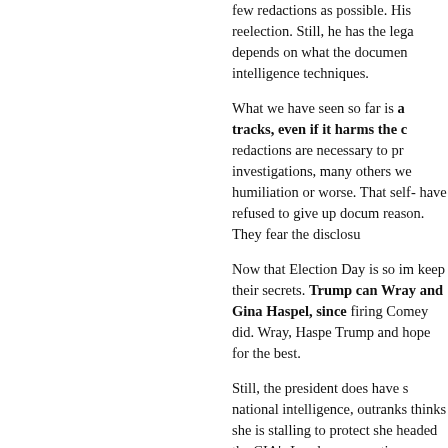few redactions as possible. His reelection. Still, he has the lega depends on what the documen intelligence techniques.
What we have seen so far is a tracks, even if it harms the c redactions are necessary to pr investigations, many others we humiliation or worse. That self- have refused to give up docum reason. They fear the disclosu
Now that Election Day is so im keep their secrets. Trump can Wray and Gina Haspel, since firing Comey did. Wray, Haspe Trump and hope for the best.
Still, the president does have s national intelligence, outranks thinks she is stalling to protect she headed the CIA's London s operations on her territory. As f Department. The AG should ov a Durham prosecution. The pr